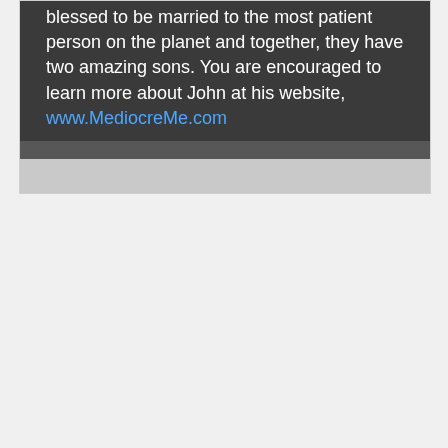blessed to be married to the most patient person on the planet and together, they have two amazing sons. You are encouraged to learn more about John at his website, www.MediocreMe.com
[Figure (other): Broken image placeholder labeled '468 ad']